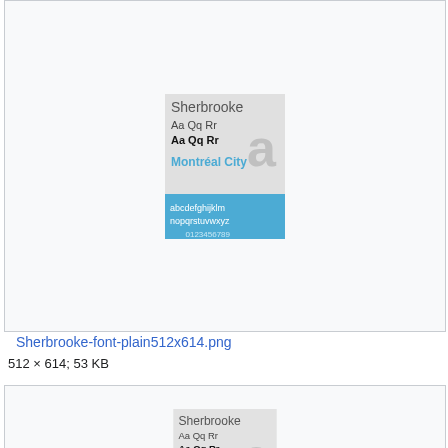[Figure (illustration): Font preview image for Sherbrooke-font-plain512x614.png showing font specimen with 'Sherbrooke', 'Aa Qq Rr' in normal and bold, 'Montréal City' in blue, and alphabet/numerals on blue background]
Sherbrooke-font-plain512x614.png
512 × 614; 53 KB
[Figure (illustration): Font preview image for Sherbrooke-font-plain64.png showing same font specimen at smaller size]
Sherbrooke-font-plain64.png
64 × 77; 8 KB